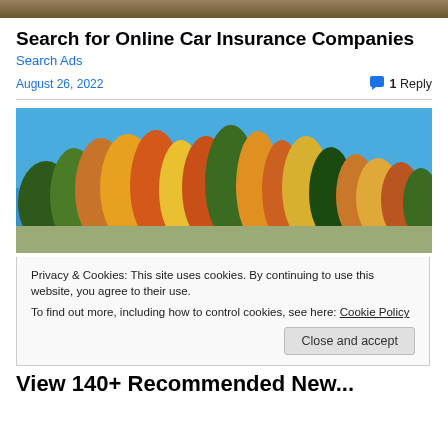[Figure (photo): Top strip showing partial photo background]
Search for Online Car Insurance Companies
Search Ads
August 26, 2022
1 Reply
[Figure (photo): Autumn forest photo with colorful fall foliage trees under blue sky]
Privacy & Cookies: This site uses cookies. By continuing to use this website, you agree to their use.
To find out more, including how to control cookies, see here: Cookie Policy
Close and accept
View 140+ Recommended New...